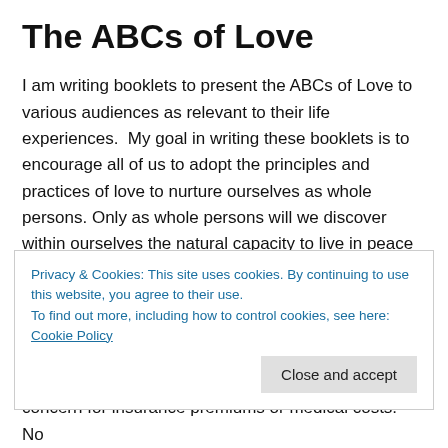The ABCs of Love
I am writing booklets to present the ABCs of Love to various audiences as relevant to their life experiences.  My goal in writing these booklets is to encourage all of us to adopt the principles and practices of love to nurture ourselves as whole persons. Only as whole persons will we discover within ourselves the natural capacity to live in peace and harmony with each other as diversely individualized expressions of universal humanity.
Wholeness < Oneness > Wholeness.  Unconditional love
Privacy & Cookies: This site uses cookies. By continuing to use this website, you agree to their use.
To find out more, including how to control cookies, see here: Cookie Policy
Close and accept
concern for insurance premiums or medical costs.  No